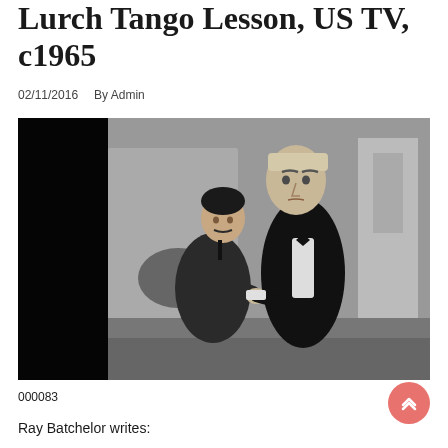Lurch Tango Lesson, US TV, c1965
02/11/2016   By Admin
[Figure (photo): Black and white TV still showing two men, one shorter in a suit looking up, one taller in a tuxedo looking down, appearing to be in a dance lesson scene, c1965 US TV]
000083
Ray Batchelor writes: